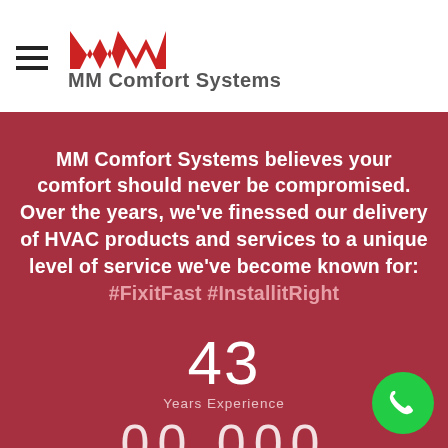[Figure (logo): MM Comfort Systems logo with red M-shaped icon and gray bold text]
MM Comfort Systems believes your comfort should never be compromised. Over the years, we've finessed our delivery of HVAC products and services to a unique level of service we've become known for: #FixitFast #InstallitRight
43
Years Experience
00 000
Installations Completed